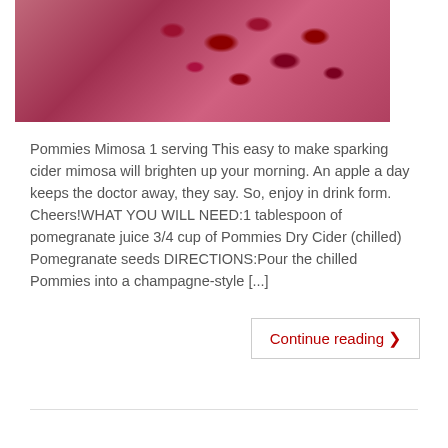[Figure (photo): Close-up photo of a pink/red drink (sparkling cider mimosa) in a glass with pomegranate seeds floating on top, dark background on left side.]
Pommies Mimosa 1 serving This easy to make sparking cider mimosa will brighten up your morning. An apple a day keeps the doctor away, they say. So, enjoy in drink form. Cheers!WHAT YOU WILL NEED:1 tablespoon of pomegranate juice 3/4 cup of Pommies Dry Cider (chilled) Pomegranate seeds DIRECTIONS:Pour the chilled Pommies into a champagne-style [...]
Continue reading ❯